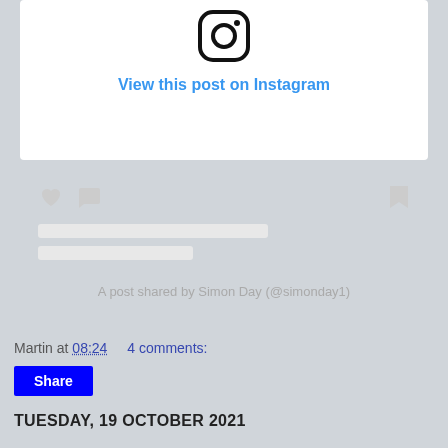[Figure (screenshot): Instagram embed widget showing the Instagram logo icon at the top, a 'View this post on Instagram' link in blue, placeholder grey icon buttons (heart, comment, bookmark), two grey loading placeholder bars, and text reading 'A post shared by Simon Day (@simonday1)']
Martin at 08:24    4 comments:
Share
TUESDAY, 19 OCTOBER 2021